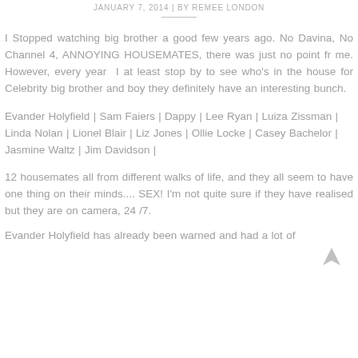JANUARY 7, 2014 | BY REMEE LONDON
I Stopped watching big brother a good few years ago. No Davina, No Channel 4, ANNOYING HOUSEMATES, there was just no point fr me. However, every year I at least stop by to see who's in the house for Celebrity big brother and boy they definitely have an interesting bunch.
Evander Holyfield | Sam Faiers | Dappy | Lee Ryan | Luiza Zissman | Linda Nolan | Lionel Blair | Liz Jones | Ollie Locke | Casey Bachelor | Jasmine Waltz | Jim Davidson |
12 housemates all from different walks of life, and they all seem to have one thing on their minds.... SEX! I'm not quite sure if they have realised but they are on camera, 24/7.
Evander Holyfield has already been warned and had a lot of